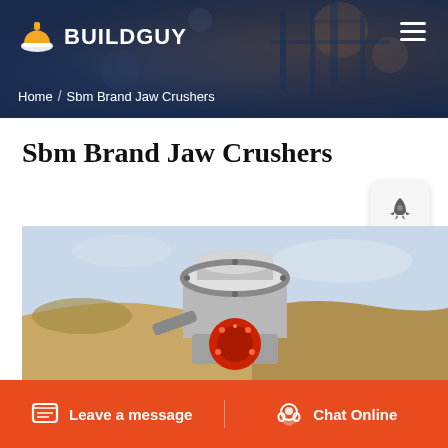BUILDGUY
Home / Sbm Brand Jaw Crushers
Sbm Brand Jaw Crushers
[Figure (photo): Industrial jaw/cone crusher machine photographed outdoors at a quarry or mining site, showing metallic cylindrical crushing head with red motor housing at base, sandy hillside in background]
Leave a message   Chat Online